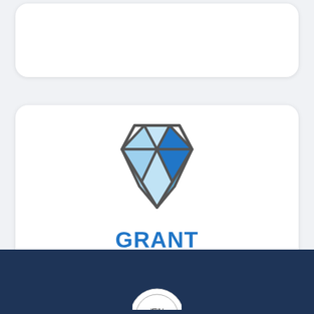[Figure (illustration): Partially visible white rounded card at top of page]
[Figure (illustration): White rounded card containing a blue diamond gem icon above the text GRANT PROGRAM in bold blue uppercase letters]
GRANT PROGRAM
Footer bar with circular logo/seal partially visible